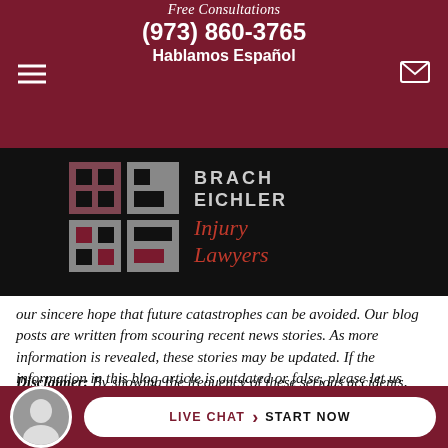Free Consultations
(973) 860-3765
Hablamos Español
[Figure (logo): Brach Eichler Injury Lawyers logo on black background]
our sincere hope that future catastrophes can be avoided. Our blog posts are written from scouring recent news stories. As more information is revealed, these stories may be updated. If the information in this blog article is outdated or false, please let us know so we can add updates or corrections.
Disclaimer: By showing the frequency of these serious accidents, Brach Eichler Injury Lawyers hopes that more will be...
LIVE CHAT > START NOW